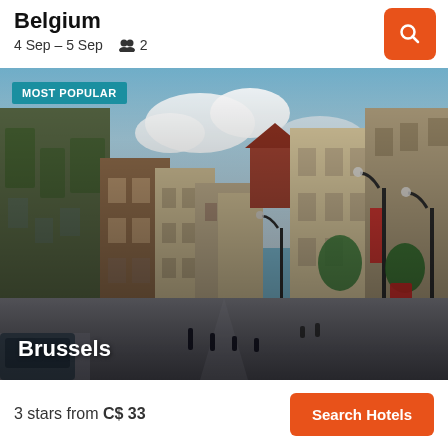Belgium
4 Sep – 5 Sep   👥 2
[Figure (photo): Street view photo of Brussels, Belgium showing a historic European city street with tall buildings, ivy-covered facades, red banners, and cobblestone street. Badge reads MOST POPULAR. City label 'Brussels' in white at bottom left.]
3 stars from C$ 33
Search Hotels